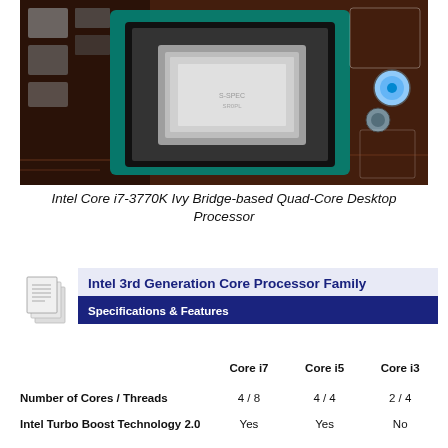[Figure (photo): Close-up photo of an Intel Core i7-3770K Ivy Bridge processor seated in a motherboard socket, showing the chip, socket mechanism, and surrounding motherboard components including capacitors and traces.]
Intel Core i7-3770K Ivy Bridge-based Quad-Core Desktop Processor
Intel 3rd Generation Core Processor Family
Specifications & Features
|  | Core i7 | Core i5 | Core i3 |
| --- | --- | --- | --- |
| Number of Cores / Threads | 4 / 8 | 4 / 4 | 2 / 4 |
| Intel Turbo Boost Technology 2.0 | Yes | Yes | No |